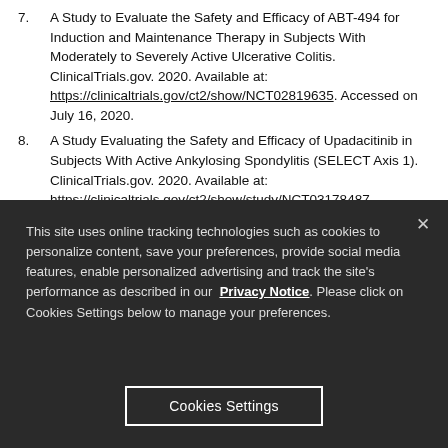7. A Study to Evaluate the Safety and Efficacy of ABT-494 for Induction and Maintenance Therapy in Subjects With Moderately to Severely Active Ulcerative Colitis. ClinicalTrials.gov. 2020. Available at: https://clinicaltrials.gov/ct2/show/NCT02819635. Accessed on July 16, 2020.
8. A Study Evaluating the Safety and Efficacy of Upadacitinib in Subjects With Active Ankylosing Spondylitis (SELECT Axis 1). ClinicalTrials.gov. 2020. Available at: https://clinicaltrials.gov/ct2/show/study/NCT03178487
This site uses online tracking technologies such as cookies to personalize content, save your preferences, provide social media features, enable personalized advertising and track the site's performance as described in our Privacy Notice. Please click on Cookies Settings below to manage your preferences.